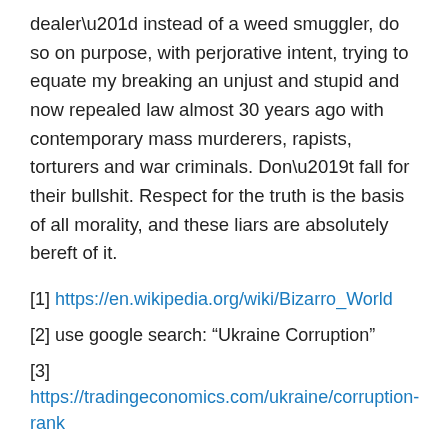dealer” instead of a weed smuggler, do so on purpose, with perjorative intent, trying to equate my breaking an unjust and stupid and now repealed law almost 30 years ago with contemporary mass murderers, rapists, torturers and war criminals. Don’t fall for their bullshit. Respect for the truth is the basis of all morality, and these liars are absolutely bereft of it.
[1] https://en.wikipedia.org/wiki/Bizarro_World
[2] use google search: “Ukraine Corruption”
[3] https://tradingeconomics.com/ukraine/corruption-rank
[4] https://www.moonofalabama.org/2014/03/ukraine-so-who-where-the-snipers.html
[5] https://www.youtube.com/watch?v=wR1NFI6TBH0